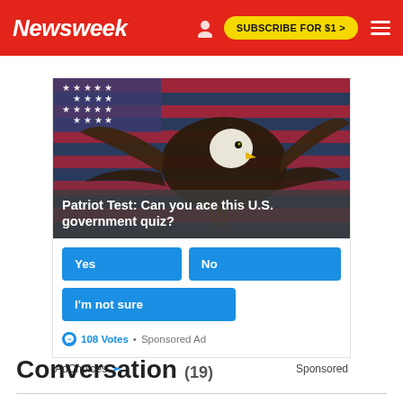Newsweek | SUBSCRIBE FOR $1 >
[Figure (screenshot): Sponsored ad with bald eagle in front of American flag, poll asking 'Patriot Test: Can you ace this U.S. government quiz?' with Yes, No, and I'm not sure buttons. 108 Votes · Sponsored Ad. AdChoices. Sponsored.]
Conversation (19)